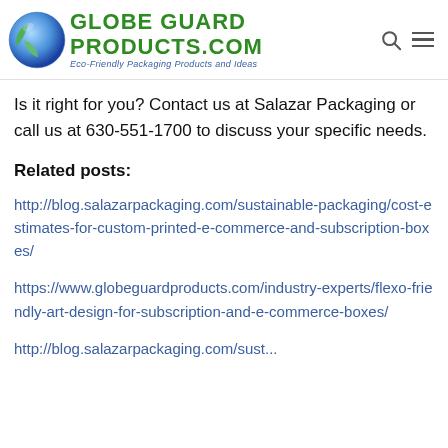Globe Guard Products.com — Eco-Friendly Packaging Products and Ideas
Is it right for you? Contact us at Salazar Packaging or call us at 630-551-1700 to discuss your specific needs.
Related posts:
http://blog.salazarpackaging.com/sustainable-packaging/cost-estimates-for-custom-printed-e-commerce-and-subscription-boxes/
https://www.globeguardproducts.com/industry-experts/flexo-friendly-art-design-for-subscription-and-e-commerce-boxes/
http://blog.salazarpackaging.com/sustainable-...